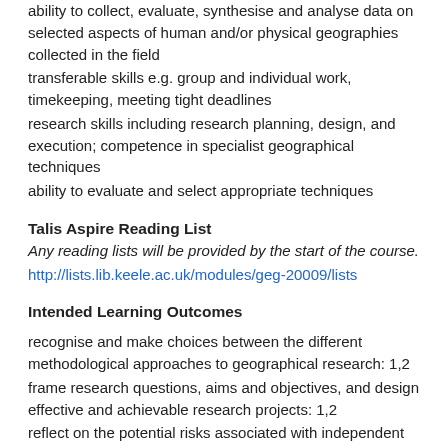ability to collect, evaluate, synthesise and analyse data on selected aspects of human and/or physical geographies collected in the field
transferable skills e.g. group and individual work, timekeeping, meeting tight deadlines
research skills including research planning, design, and execution; competence in specialist geographical techniques
ability to evaluate and select appropriate techniques
Talis Aspire Reading List
Any reading lists will be provided by the start of the course.
http://lists.lib.keele.ac.uk/modules/geg-20009/lists
Intended Learning Outcomes
recognise and make choices between the different methodological approaches to geographical research: 1,2
frame research questions, aims and objectives, and design effective and achievable research projects: 1,2
reflect on the potential risks associated with independent research as well as the moral and ethical issues of any research project: 1,2
design, plan, execute and present the findings of a field-based